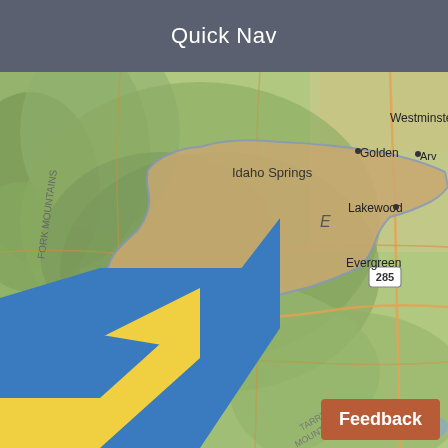Quick Nav
[Figure (map): Topographic map showing the Colorado Front Range area including Idaho Springs, Golden, Lakewood, Evergreen, Breckenridge, Westminster, and surrounding mountain ranges (Tarryall Mountains, Fork Mountains). A highlighted/shaded region (tan/brown) outlines a county or district boundary centered around Clear Creek County near Idaho Springs. Roads and route markers (6, 285) are visible. A blue and yellow diagonal stripe overlays the lower-left corner.]
Feedback